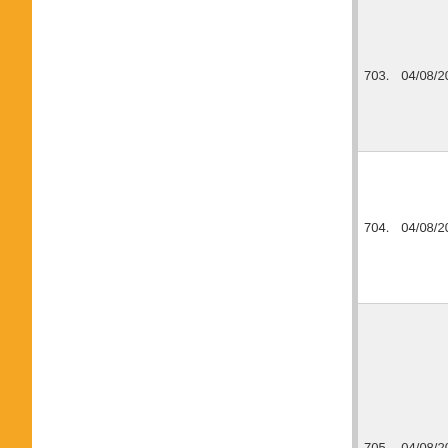| No. | Date | Description |
| --- | --- | --- |
| 703. | 04/08/2016 | Question Bo... |
| 704. | 04/08/2016 | Question Bo... |
| 705. | 04/08/2016 | Question Bo... Engineering)... |
| 706. | 03/08/2016 | Re-Examina... Courses) Jo... |
| 707. | 03/08/2016 | Re-Examina... Journalism-A... |
| 708. | 03/08/2016 | WITHDRAW... LL.M.-2nd S... |
| 709. | 02/08/2016 | Re-Examina... Family Law (... |
| 710. | 27/07/2016 | Paragraph 9... SYNDICATE... |
| 711. | 26/07/2016 | RE-EXAMINA... Special-clas... |
| 712. | 25/07/2016 | Re-Examina... Interior Desi... |
| 713. | 25/07/2016 | ADDITIONS... (SPECIAL-C... (July-August... |